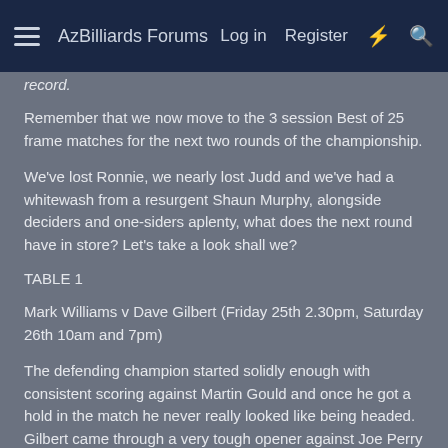AzBilliards Forums | Log in | Register
record.
Remember that we now move to the 3 session Best of 25 frame matches for the next two rounds of the championship.
We've lost Ronnie, we nearly lost Judd and we've had a whitewash from a resurgent Shaun Murphy, alongside deciders and one-siders aplenty, what does the next round have in store? Let's take a look shall we?
TABLE 1
Mark Williams v Dave Gilbert (Friday 25th 2.30pm, Saturday 26th 10am and 7pm)
The defending champion started solidly enough with consistent scoring against Martin Gould and once he got a hold in the match he never really looked like being headed. Gilbert came through a very tough opener against Joe Perry by the same 10-7 scoreline but somehow that one felt a lot tighter than Williams'